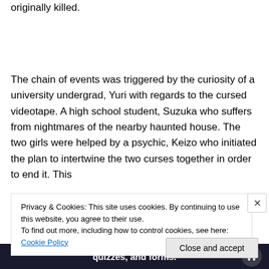originally killed.
The chain of events was triggered by the curiosity of a university undergrad, Yuri with regards to the cursed videotape. A high school student, Suzuka who suffers from nightmares of the nearby haunted house. The two girls were helped by a psychic, Keizo who initiated the plan to intertwine the two curses together in order to end it. This
Privacy & Cookies: This site uses cookies. By continuing to use this website, you agree to their use.
To find out more, including how to control cookies, see here: Cookie Policy
Close and accept
quizzes, and forms.